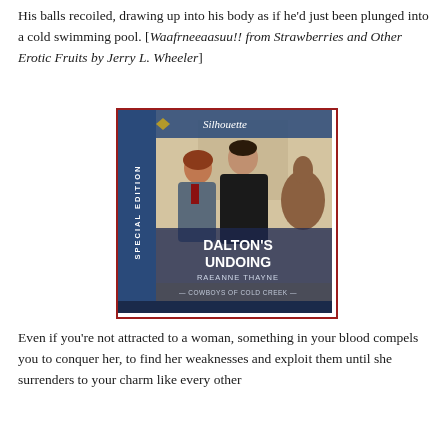His balls recoiled, drawing up into his body as if he'd just been plunged into a cold swimming pool. [Waafrneeaasuu!! from Strawberries and Other Erotic Fruits by Jerry L. Wheeler]
[Figure (illustration): Book cover of 'Dalton's Undoing' by RaeAnne Thayne, Silhouette Special Edition. Shows a man and woman in an intimate pose, the man leaning in to kiss the woman's cheek. Blue spine with 'Special Edition' text. Cowboys of Cold Creek series.]
Even if you're not attracted to a woman, something in your blood compels you to conquer her, to find her weaknesses and exploit them until she surrenders to your charm like every other